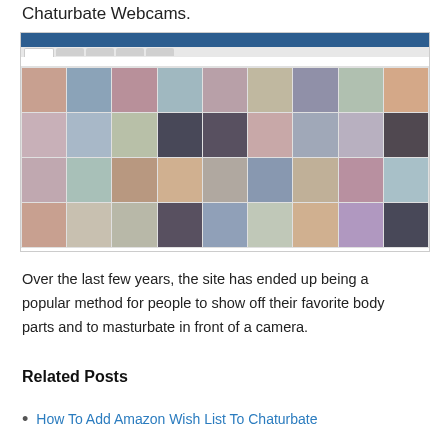Chaturbate Webcams.
[Figure (screenshot): Screenshot of the Chaturbate webcams website showing a grid of webcam thumbnails with multiple rows of performers, navigation bar at top with blue header, tab filters, and tag browsing row]
Over the last few years, the site has ended up being a popular method for people to show off their favorite body parts and to masturbate in front of a camera.
Related Posts
How To Add Amazon Wish List To Chaturbate